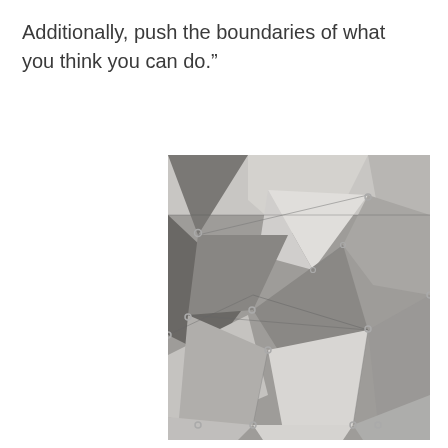Additionally, push the boundaries of what you think you can do.”
[Figure (photo): Close-up photograph of multiple metallic triangular pyramid-shaped structures arranged together, connected by metal fasteners/bolts, appearing to be industrial fabricated steel or aluminum components.]